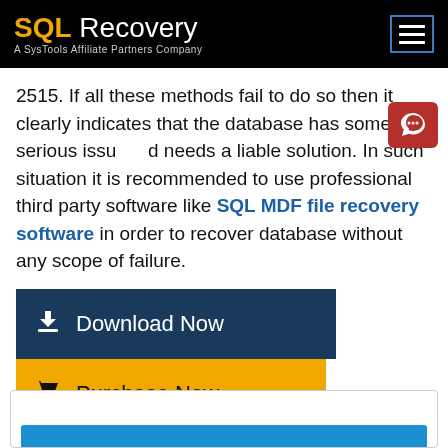SQL Recovery — A SysTools Affiliate Partners Company
2515. If all these methods fail to do so then it clearly indicates that the database has some serious issues and needs a liable solution. In such situation it is recommended to use professional third party software like SQL MDF file recovery software in order to recover database without any scope of failure.
[Figure (screenshot): Download Now button (dark navy blue background)]
[Figure (screenshot): Purchase Now button (gold/amber background)]
[Figure (screenshot): Partial bottom card with blue bar]